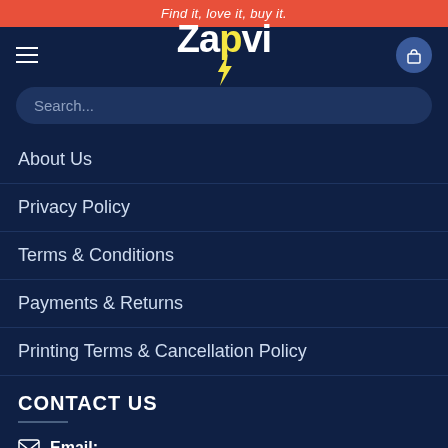Find it, love it, buy it.
[Figure (logo): Zapvi logo with lightning bolt in yellow, white text on dark blue background]
Search...
About Us
Privacy Policy
Terms & Conditions
Payments & Returns
Printing Terms & Cancellation Policy
CONTACT US
Email:
help@zapvi.in